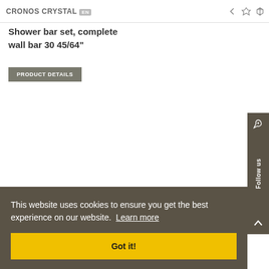CRONOS CRYSTAL
Shower bar set, complete wall bar 30 45/64"
PRODUCT DETAILS
Follow us
This website uses cookies to ensure you get the best experience on our website. Learn more
Got it!